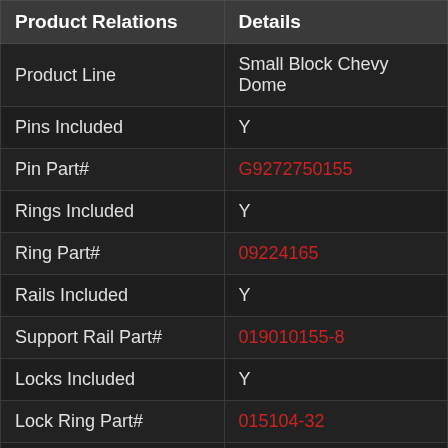| Product Relations | Details |
| --- | --- |
| Product Line | Small Block Chevy Dome |
| Pins Included | Y |
| Pin Part# | G9272750155 |
| Rings Included | Y |
| Ring Part# | 09224165 |
| Rails Included | Y |
| Support Rail Part# | 019010155-8 |
| Locks Included | Y |
| Lock Ring Part# | 015104-32 |
| Country of Origin | USA |